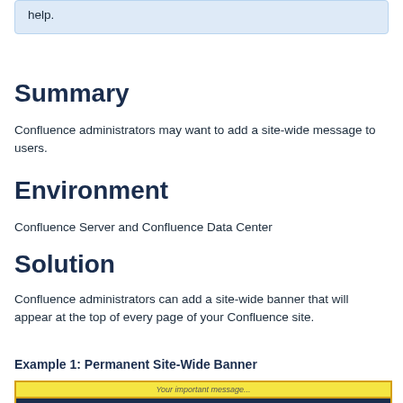help.
Summary
Confluence administrators may want to add a site-wide message to users.
Environment
Confluence Server and Confluence Data Center
Solution
Confluence administrators can add a site-wide banner that will appear at the top of every page of your Confluence site.
Example 1: Permanent Site-Wide Banner
[Figure (screenshot): Screenshot of a Confluence page showing a yellow site-wide banner with the text 'Your important message...' at the top, and the Confluence navigation bar below it.]